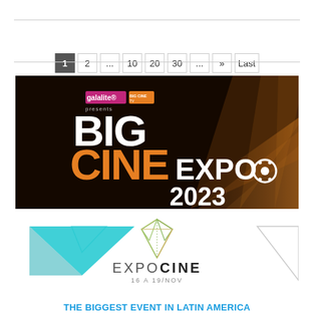Pagination: 1, 2, ..., 10, 20, 30, ..., », Last »
[Figure (photo): Big Cine Expo 2023 promotional banner on dark background with orange and white logo text]
[Figure (logo): ExpoCine logo with geometric diamond/crystal shape and text 'EXPOCINE 16 A 19/NOV', with teal triangular graphic on left side]
THE BIGGEST EVENT IN LATIN AMERICA